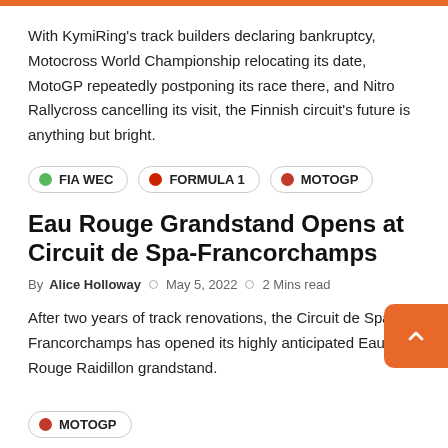With KymiRing's track builders declaring bankruptcy, Motocross World Championship relocating its date, MotoGP repeatedly postponing its race there, and Nitro Rallycross cancelling its visit, the Finnish circuit's future is anything but bright.
FIA WEC
FORMULA 1
MOTOGP
Eau Rouge Grandstand Opens at Circuit de Spa-Francorchamps
By Alice Holloway  ○  May 5, 2022  ○  2 Mins read
After two years of track renovations, the Circuit de Spa-Francorchamps has opened its highly anticipated Eau Rouge Raidillon grandstand.
MOTOGP